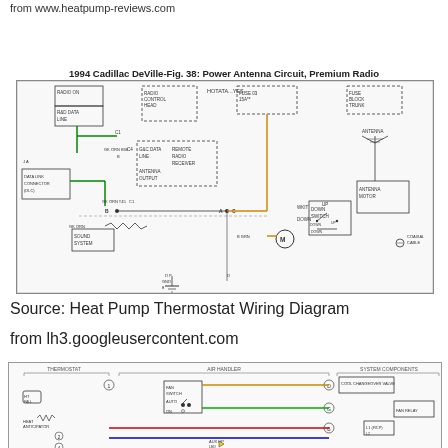from www.heatpump-reviews.com
1994 Cadillac DeVille-Fig. 38: Power Antenna Circuit, Premium Radio
[Figure (circuit-diagram): 1994 Cadillac DeVille power antenna circuit wiring diagram showing Radio ON, RAD DATA LINE, C1, C4, G&C DATA LINE, Remote Radio Receiver, Antenna Output, Data Link Connector (DLC), Sound System, GND connections, Fuse Block, Trunk, Down Switch, Up/Down controls, Antenna Motor, Antenna, and Coaxial Cable]
Source: Heat Pump Thermostat Wiring Diagram
from lh3.googleusercontent.com
[Figure (circuit-diagram): Heat pump thermostat wiring diagram showing Thermostat section, Air Handler section, and System Components including Fan Switch (Auto/On), Cool Changeover Valve, Fan Relay, AUX HP LED, and various colored wiring connections (red, green, blue, orange)]